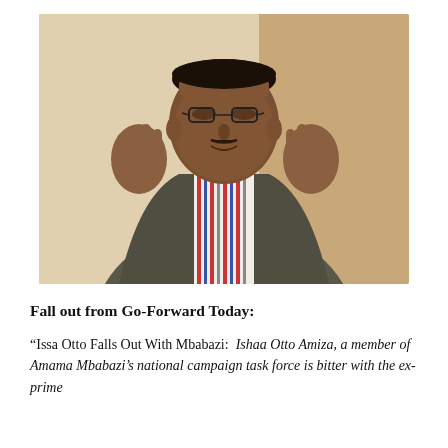[Figure (photo): A man wearing glasses, a striped shirt and grey jacket, gesturing with both hands raised, speaking expressively in what appears to be an office or indoor setting.]
Fall out from Go-Forward Today:
“Issa Otto Falls Out With Mbabazi:  Ishaa Otto Amiza, a member of Amama Mbabazi’s national campaign task force is bitter with the ex-prime